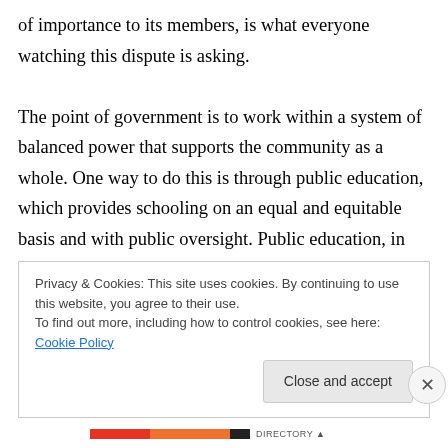of importance to its members, is what everyone watching this dispute is asking.
The point of government is to work within a system of balanced power that supports the community as a whole. One way to do this is through public education, which provides schooling on an equal and equitable basis and with public oversight. Public education, in contrast to private education, is universally accessible. Every child in B.C. has a right to education, a right respected by government through the provision of schools supported by
Privacy & Cookies: This site uses cookies. By continuing to use this website, you agree to their use.
To find out more, including how to control cookies, see here: Cookie Policy